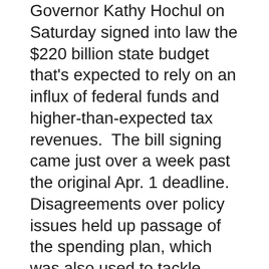Governor Kathy Hochul on Saturday signed into law the $220 billion state budget that's expected to rely on an influx of federal funds and higher-than-expected tax revenues.  The bill signing came just over a week past the original Apr. 1 deadline.  Disagreements over policy issues held up passage of the spending plan, which was also used to tackle issues expected to resonate with voters during an election year.  Among those is some minor changes to the 2019 Bail Reform Law... which State Senator George Borrello says don't go far enough.  While supporters of bail reform say it hasn't had a demonstrable impact on soaring crime rates... Borrello says the New York City Police Department has collected data showing that bail reform has had a major impact on it.  The new, one-year budget will boost pay for health care and home care workers... shave 16 cents off the cost of a gallon of gas from June through December... and help New Yorkers with unpaid rent and utility bills.  Borrello made his comments during last Friday's State Legislative Breakfast that his Jamestown chamber the...